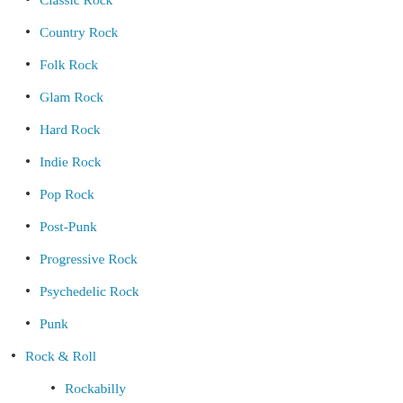Classic Rock
Country Rock
Folk Rock
Glam Rock
Hard Rock
Indie Rock
Pop Rock
Post-Punk
Progressive Rock
Psychedelic Rock
Punk
Rock & Roll
Rockabilly
Soundtrack / Score
World
Xmas